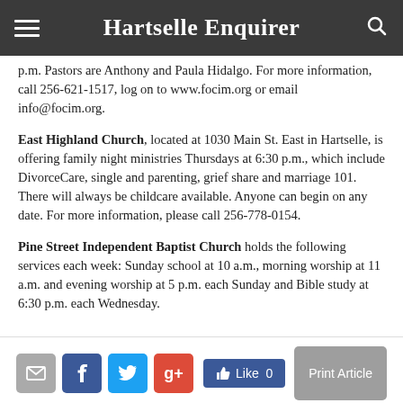Hartselle Enquirer
p.m. Pastors are Anthony and Paula Hidalgo. For more information, call 256-621-1517, log on to www.focim.org or email info@focim.org.
East Highland Church, located at 1030 Main St. East in Hartselle, is offering family night ministries Thursdays at 6:30 p.m., which include DivorceCare, single and parenting, grief share and marriage 101. There will always be childcare available. Anyone can begin on any date. For more information, please call 256-778-0154.
Pine Street Independent Baptist Church holds the following services each week: Sunday school at 10 a.m., morning worship at 11 a.m. and evening worship at 5 p.m. each Sunday and Bible study at 6:30 p.m. each Wednesday.
[Figure (infographic): Social sharing bar with email, Facebook, Twitter, Google+, Like button (0), and Print Article button]